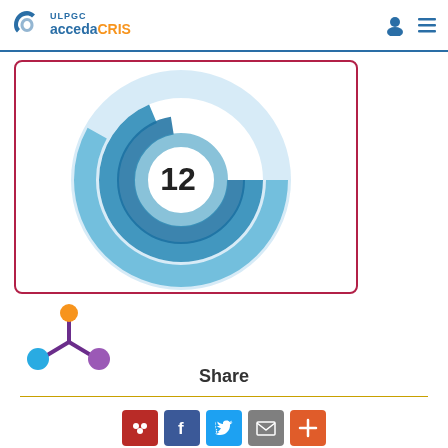ULPGC accedaCRIS
[Figure (donut-chart): Donut chart showing the number 12 in the center, rendered in blue tones — appears to be an Altmetric or citation donut badge inside a red-bordered card]
[Figure (logo): Altmetric logo — colored circles (orange, cyan, purple) connected by dark purple lines in an asterisk/snowflake pattern]
Share
[Figure (infographic): Row of social sharing buttons: Mendeley (red), Facebook (blue), Twitter (light blue), Email (grey), Add (orange)]